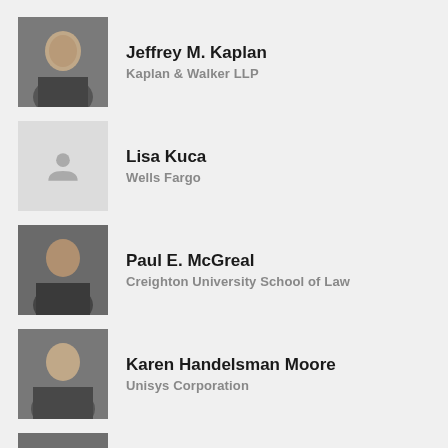[Figure (photo): Headshot photo of Jeffrey M. Kaplan, grayscale]
Jeffrey M. Kaplan
Kaplan & Walker LLP
[Figure (photo): Placeholder silhouette for Lisa Kuca]
Lisa Kuca
Wells Fargo
[Figure (photo): Headshot photo of Paul E. McGreal, grayscale]
Paul E. McGreal
Creighton University School of Law
[Figure (photo): Headshot photo of Karen Handelsman Moore, grayscale]
Karen Handelsman Moore
Unisys Corporation
[Figure (photo): Headshot photo of Carrie Penman, grayscale]
Carrie Penman
NAVEX
[Figure (photo): Headshot photo of Leah Ramos, grayscale]
Leah Ramos
STO Building Group
[Figure (photo): Headshot photo of Adam Siegel, grayscale]
Adam Siegel
Freshfields Bruckhaus Deringer LLP